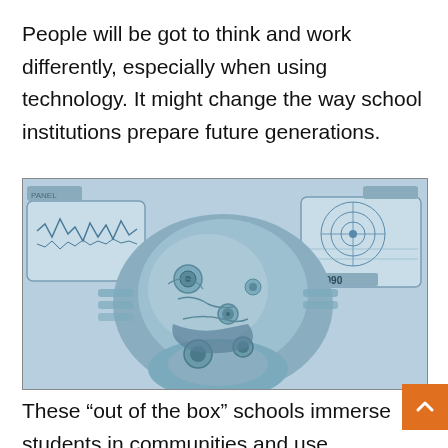People will be got to think and work differently, especially when using technology. It might change the way school institutions prepare future generations.
[Figure (illustration): Digital illustration of a metallic robotic/cyborg face with mechanical parts and gears, tilted back, with futuristic interface screens in the background showing waveforms and a target/radar display labeled '2090'. Blue-grey toned sci-fi image.]
These “out of the box” schools immerse students in communities and use technology to derive solutions to overcome community problems. Due to this, the